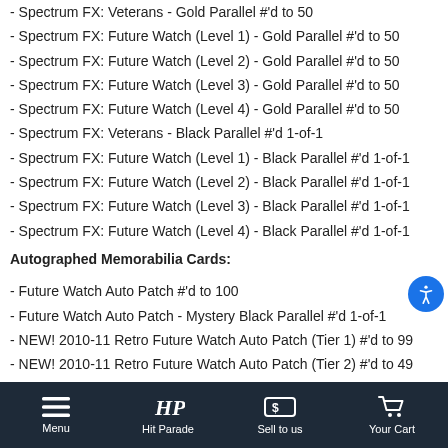- Spectrum FX: Veterans - Gold Parallel #'d to 50
- Spectrum FX: Future Watch (Level 1) - Gold Parallel #'d to 50
- Spectrum FX: Future Watch (Level 2) - Gold Parallel #'d to 50
- Spectrum FX: Future Watch (Level 3) - Gold Parallel #'d to 50
- Spectrum FX: Future Watch (Level 4) - Gold Parallel #'d to 50
- Spectrum FX: Veterans - Black Parallel #'d 1-of-1
- Spectrum FX: Future Watch (Level 1) - Black Parallel #'d 1-of-1
- Spectrum FX: Future Watch (Level 2) - Black Parallel #'d 1-of-1
- Spectrum FX: Future Watch (Level 3) - Black Parallel #'d 1-of-1
- Spectrum FX: Future Watch (Level 4) - Black Parallel #'d 1-of-1
Autographed Memorabilia Cards:
- Future Watch Auto Patch #'d to 100
- Future Watch Auto Patch - Mystery Black Parallel #'d 1-of-1
- NEW! 2010-11 Retro Future Watch Auto Patch (Tier 1) #'d to 99
- NEW! 2010-11 Retro Future Watch Auto Patch (Tier 2) #'d to 49
- NEW! 2010-11 Retro Future Watch Auto Patch (Tier 3) #'d to 25
Menu  Hit Parade  Sell to us  Your Cart